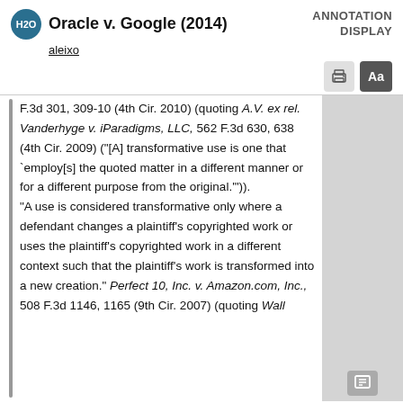Oracle v. Google (2014)
aleixo
ANNOTATION DISPLAY
F.3d 301, 309-10 (4th Cir. 2010) (quoting A.V. ex rel. Vanderhyge v. iParadigms, LLC, 562 F.3d 630, 638 (4th Cir. 2009) ("[A] transformative use is one that `employ[s] the quoted matter in a different manner or for a different purpose from the original.'")}. "A use is considered transformative only where a defendant changes a plaintiff's copyrighted work or uses the plaintiff's copyrighted work in a different context such that the plaintiff's work is transformed into a new creation." Perfect 10, Inc. v. Amazon.com, Inc., 508 F.3d 1146, 1165 (9th Cir. 2007) (quoting Wall